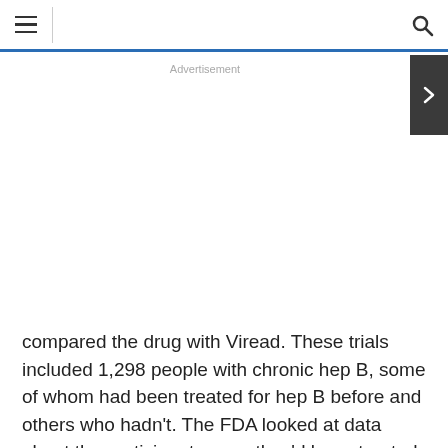Navigation header with hamburger menu and search icon
Advertisement
compared the drug with Viread. These trials included 1,298 people with chronic hep B, some of whom had been treated for hep B before and others who hadn't. The FDA looked at data about the participants once they'd been treated for 48 weeks.